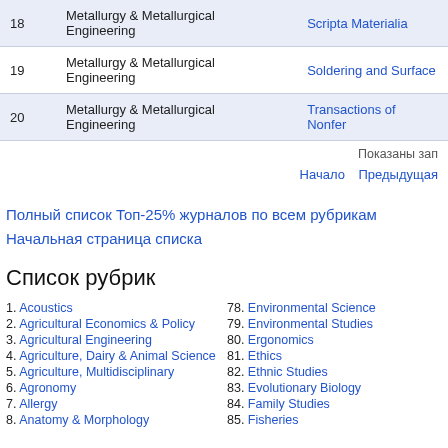| # | Category | Journal |
| --- | --- | --- |
| 18 | Metallurgy & Metallurgical Engineering | Scripta Materialia |
| 19 | Metallurgy & Metallurgical Engineering | Soldering and Surface |
| 20 | Metallurgy & Metallurgical Engineering | Transactions of Nonfer |
Показаны зап
Начало   Предыдущая
Полный список Топ-25% журналов по всем рубрикам
Начальная страница списка
Список рубрик
1. Acoustics
2. Agricultural Economics & Policy
3. Agricultural Engineering
4. Agriculture, Dairy & Animal Science
5. Agriculture, Multidisciplinary
6. Agronomy
7. Allergy
8. Anatomy & Morphology
78. Environmental Science
79. Environmental Studies
80. Ergonomics
81. Ethics
82. Ethnic Studies
83. Evolutionary Biology
84. Family Studies
85. Fisheries